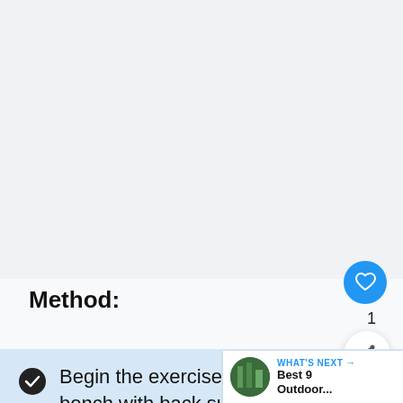[Figure (photo): Large image area at top of page, showing exercise or fitness related content, appears blank/cropped]
Method:
Begin the exercise by sitting on bench with back support under barbell of the Smith machine